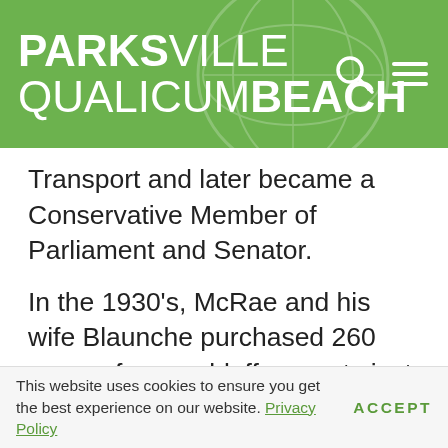PARKSVILLE QUALICUM BEACH
Transport and later became a Conservative Member of Parliament and Senator.
In the 1930's, McRae and his wife Blaunche purchased 260 acres of ocean bluff property just south of Qualicum Beach to build Eaglecrest - their upscale family retreat. The main house was a sprawling 10,000 ft. log structure, included 4 fireplaces and was furnished with the finest
This website uses cookies to ensure you get the best experience on our website. Privacy Policy  ACCEPT